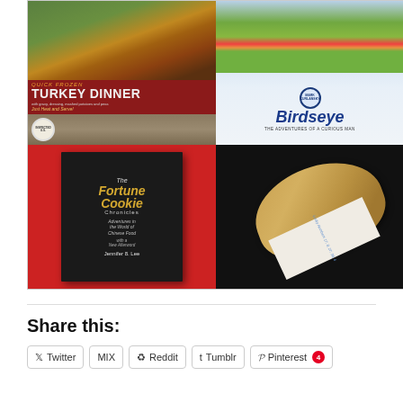[Figure (photo): A 2x2 collage of food-related book covers and photos. Top-left: vintage 'Quick Frozen Turkey Dinner – Just Heat and Serve!' packaging. Top-right: Book cover 'Birdseye: The Adventures of a Curious Man' by Mark Kurlansky with mixed frozen vegetables. Bottom-left: Book cover 'The Fortune Cookie Chronicles – Adventures in the World of Chinese Food with a New Afterword' by Jennifer 8. Lee. Bottom-right: Photo of a fortune cookie broken open with a fortune paper slip showing lucky numbers.]
Share this:
Twitter
MIX
Reddit
Tumblr
Pinterest 4